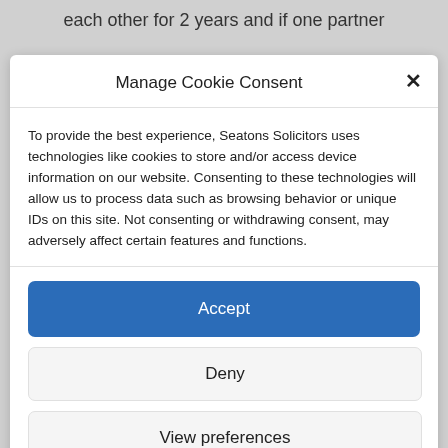each other for 2 years and if one partner
Manage Cookie Consent
To provide the best experience, Seatons Solicitors uses technologies like cookies to store and/or access device information on our website. Consenting to these technologies will allow us to process data such as browsing behavior or unique IDs on this site. Not consenting or withdrawing consent, may adversely affect certain features and functions.
Accept
Deny
View preferences